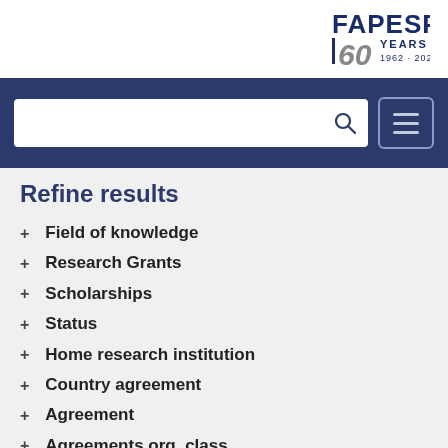[Figure (logo): FAPESP 60 Years 1962-2022 logo]
Refine results
+ Field of knowledge
+ Research Grants
+ Scholarships
+ Status
+ Home research institution
+ Country agreement
+ Agreement
+ Agreements org. class
+ Scientific publications
+ Start date
+ End date